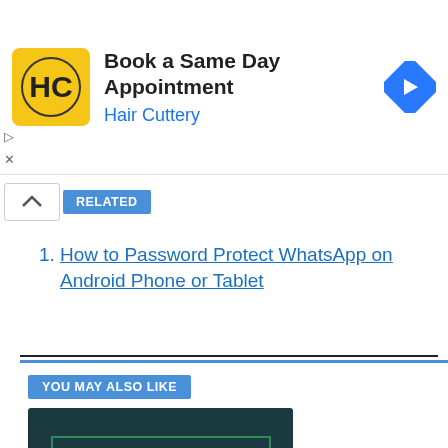[Figure (other): Hair Cuttery advertisement banner with logo, text 'Book a Same Day Appointment', 'Hair Cuttery', and a blue navigation arrow icon]
RELATED
How to Password Protect WhatsApp on Android Phone or Tablet
YOU MAY ALSO LIKE
[Figure (photo): Thumbnail image for 'How to Share Your Live Location on WhatsApp' article — dark teal background with white text and WhatsApp logo]
How to Share Live Location On WhatsApp iPhone and Android